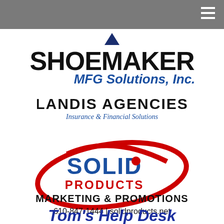Navigation header bar with hamburger menu
[Figure (logo): Shoemaker MFG Solutions, Inc. logo — large bold black SHOEMAKER text with a dark blue downward triangle above the M, and blue italic MFG Solutions, Inc. below]
[Figure (logo): Landis Agencies logo — bold black LANDIS AGENCIES text with blue italic Insurance & Financial Solutions tagline below]
[Figure (logo): Solid Products Marketing & Promotions logo — red oval swoosh around blue bold SOLID PRODUCTS text with a red hard-hat on the D, with MARKETING & PROMOTIONS in black below, and 610-847-1444 | solidproducts.net contact info]
[Figure (logo): Tom's Help Desk logo in bold blue italic text]